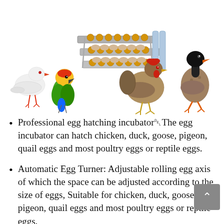[Figure (photo): Product photo showing an egg incubator device with rolling egg trays in the center-top, surrounded by four birds: a white pigeon (left), a colorful green-yellow-red parrot (center-left), a brown/grey chicken (center-right), and a duck (right).]
Professional egg hatching incubatorÿThe egg incubator can hatch chicken, duck, goose, pigeon, quail eggs and most poultry eggs or reptile eggs.
Automatic Egg Turner: Adjustable rolling egg axis of which the space can be adjusted according to the size of eggs, Suitable for chicken, duck, goose, pigeon, quail eggs and most poultry eggs or reptile eggs.